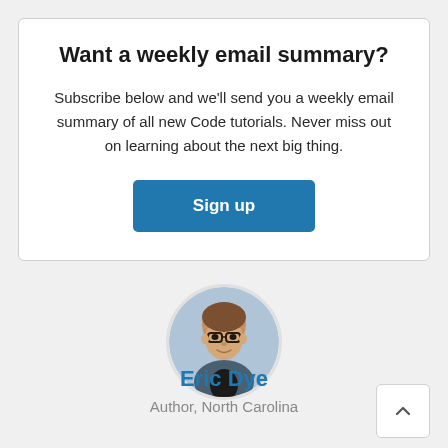Want a weekly email summary?
Subscribe below and we’ll send you a weekly email summary of all new Code tutorials. Never miss out on learning about the next big thing.
[Figure (illustration): Blue 'Sign up' button]
[Figure (photo): Circular avatar photo of Eric Dye, a man with glasses]
Eric Dye
Author, North Carolina